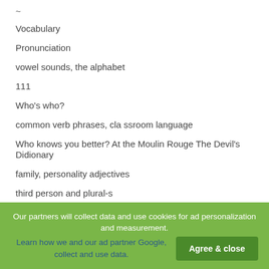~
Vocabulary
Pronunciation
vowel sounds, the alphabet
111
Who's who?
common verb phrases, cla ssroom language
Who knows you better? At the Moulin Rouge The Devil's Didionary
family, personality adjectives
third person and plural-s
Our partners will collect data and use cookies for ad personalization and measurement. Learn how we and our ad partner Google, collect and use data. Agree & close